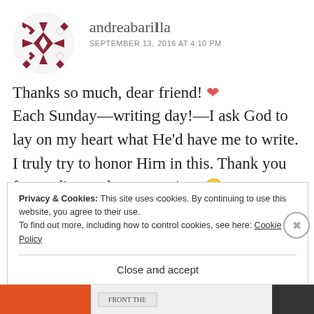[Figure (illustration): Dark red/maroon decorative avatar icon with a geometric diamond/cross pattern]
andreabarilla
SEPTEMBER 13, 2016 AT 4:10 PM
Thanks so much, dear friend! ❤ Each Sunday—writing day!—I ask God to lay on my heart what He'd have me to write. I truly try to honor Him in this. Thank you for reading and commenting. 🙂
Privacy & Cookies: This site uses cookies. By continuing to use this website, you agree to their use.
To find out more, including how to control cookies, see here: Cookie Policy
Close and accept